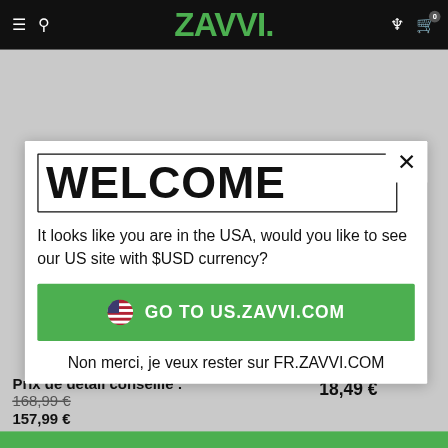ZAVVI
WELCOME
It looks like you are in the USA, would you like to see our US site with $USD currency?
GO TO US.ZAVVI.COM
Non merci, je veux rester sur FR.ZAVVI.COM
Prix de détail conseillé : 168,99 € 157,99 €
18,49 €